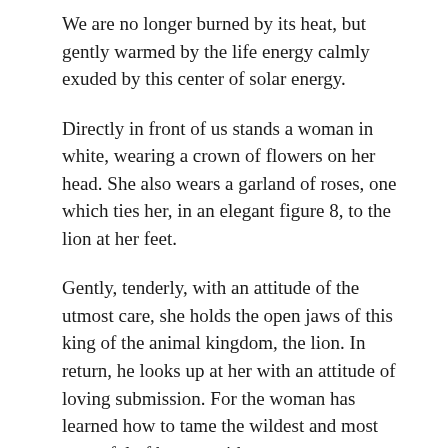We are no longer burned by its heat, but gently warmed by the life energy calmly exuded by this center of solar energy.
Directly in front of us stands a woman in white, wearing a crown of flowers on her head. She also wears a garland of roses, one which ties her, in an elegant figure 8, to the lion at her feet.
Gently, tenderly, with an attitude of the utmost care, she holds the open jaws of this king of the animal kingdom, the lion. In return, he looks up at her with an attitude of loving submission. For the woman has learned how to tame the wildest and most powerful of beasts: with